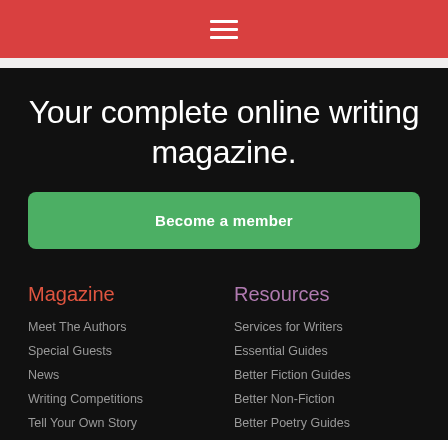≡
Your complete online writing magazine.
Become a member
Magazine
Resources
Meet The Authors
Special Guests
News
Writing Competitions
Tell Your Own Story
Services for Writers
Essential Guides
Better Fiction Guides
Better Non-Fiction
Better Poetry Guides